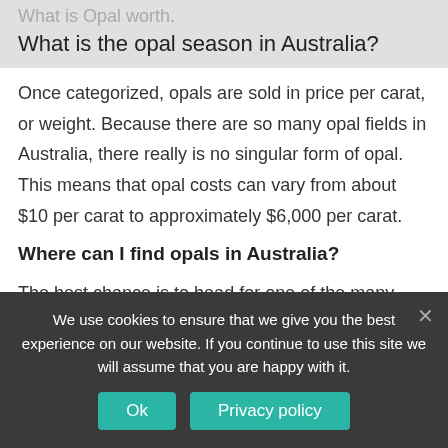What is Opal worth.
What is the opal season in Australia?
Once categorized, opals are sold in price per carat, or weight. Because there are so many opal fields in Australia, there really is no singular form of opal. This means that opal costs can vary from about $10 per carat to approximately $6,000 per carat.
Where can I find opals in Australia?
The best chance is to head for one of the many opal fields where opal has been found. There are many of these and almost all are very accessible. Andamooka,
We use cookies to ensure that we give you the best experience on our website. If you continue to use this site we will assume that you are happy with it.